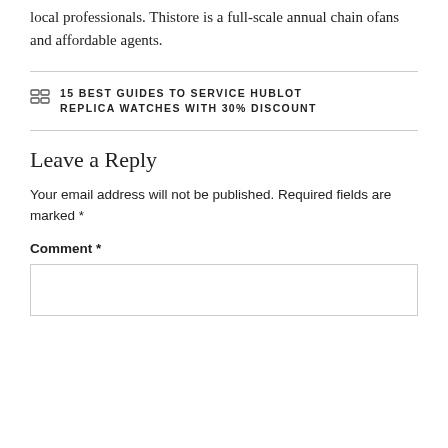local professionals. Thistore is a full-scale annual chain ofans and affordable agents.
15 BEST GUIDES TO SERVICE HUBLOT REPLICA WATCHES WITH 30% DISCOUNT
Leave a Reply
Your email address will not be published. Required fields are marked *
Comment *